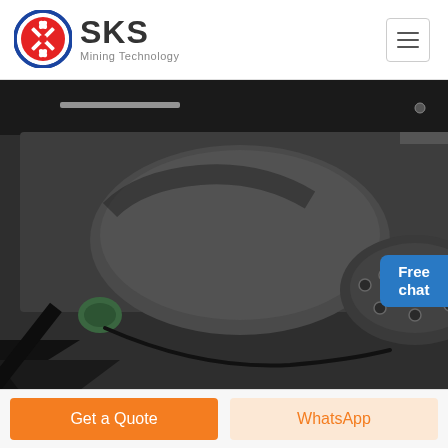[Figure (logo): SKS Mining Technology logo with circular red/blue emblem and company name]
[Figure (photo): Close-up photograph of an IRD internal cylindrical grinding machine showing heavy industrial metal components, bearings, and drive mechanism mounted on a black steel frame]
IRD internal cylindrical grinding machine
Get a Quote
WhatsApp